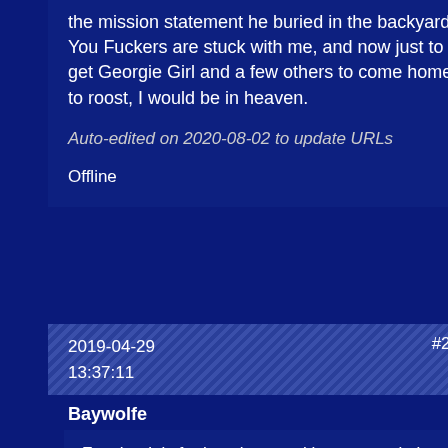the mission statement he buried in the backyard. You Fuckers are stuck with me, and now just to get Georgie Girl and a few others to come home to roost, I would be in heaven.
Auto-edited on 2020-08-02 to update URLs
Offline
2019-04-29 13:37:11 #29
Baywolfe
Facebook is for keeping up with remote relatives. It does not appear to have any other value.